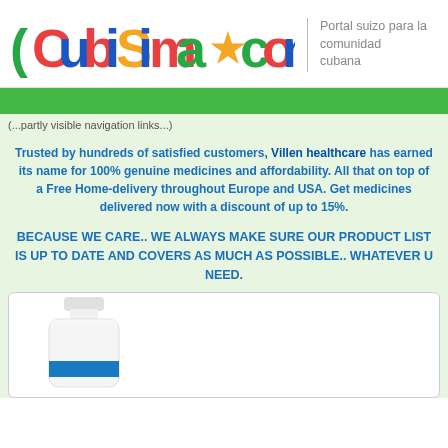[Figure (logo): Cubisima.com colorful logo with multi-colored letters]
Portal suizo para la comunidad cubana
(partially visible navigation text)
Trusted by hundreds of satisfied customers, Villen healthcare has earned its name for 100% genuine medicines and affordability. All that on top of a Free Home-delivery throughout Europe and USA. Get medicines delivered now with a discount of up to 15%.
BECAUSE WE CARE.. WE ALWAYS MAKE SURE OUR PRODUCT LIST IS UP TO DATE AND COVERS AS MUCH AS POSSIBLE.. WHATEVER U NEED.
[Figure (photo): White medicine bottle with blue label band]